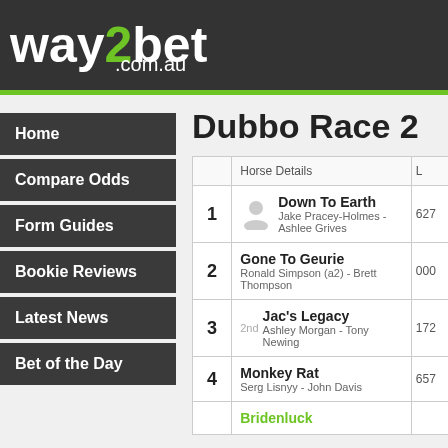way2bet .com.au
Home
Compare Odds
Form Guides
Bookie Reviews
Latest News
Bet of the Day
Dubbo Race 2
|  | Horse Details | L |
| --- | --- | --- |
| 1 | Down To Earth
Jake Pracey-Holmes - Ashlee Grives | 627 |
| 2 | Gone To Geurie
Ronald Simpson (a2) - Brett Thompson | 000 |
| 3 | Jac's Legacy
Ashley Morgan - Tony Newing | 172 |
| 4 | Monkey Rat
Serg Lisnyy - John Davis | 657 |
| 5 | Bridenluck |  |